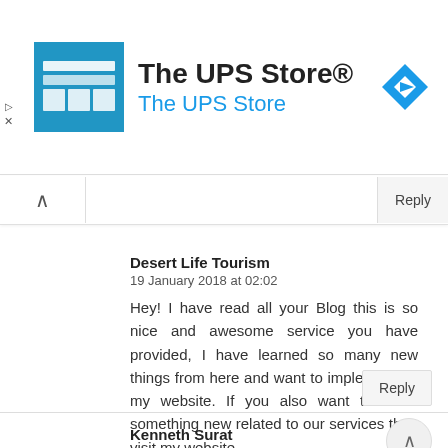[Figure (logo): The UPS Store advertisement banner with logo, brand name, and navigation icon]
Desert Life Tourism
19 January 2018 at 02:02
Hey! I have read all your Blog this is so nice and awesome service you have provided, I have learned so many new things from here and want to implement on my website. If you also want to know something new related to our services then visit my website
Kenneth Surat
21 January 2018 at 17:56